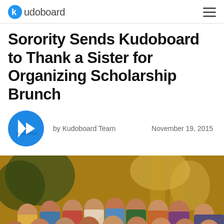kudoboard
Sorority Sends Kudoboard to Thank a Sister for Organizing Scholarship Brunch
by Kudoboard Team   November 19, 2015
[Figure (photo): Group photo of sorority sisters posing together in a warmly lit indoor venue, approximately 20 young women smiling at the camera in two rows]